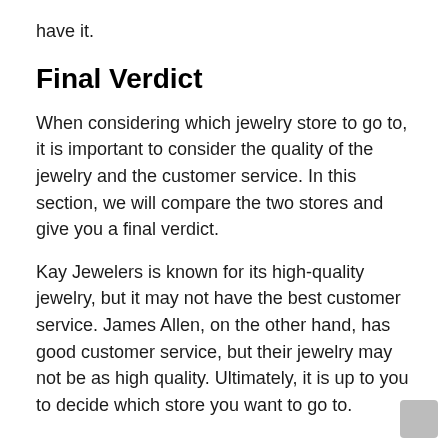have it.
Final Verdict
When considering which jewelry store to go to, it is important to consider the quality of the jewelry and the customer service. In this section, we will compare the two stores and give you a final verdict.
Kay Jewelers is known for its high-quality jewelry, but it may not have the best customer service. James Allen, on the other hand, has good customer service, but their jewelry may not be as high quality. Ultimately, it is up to you to decide which store you want to go to.